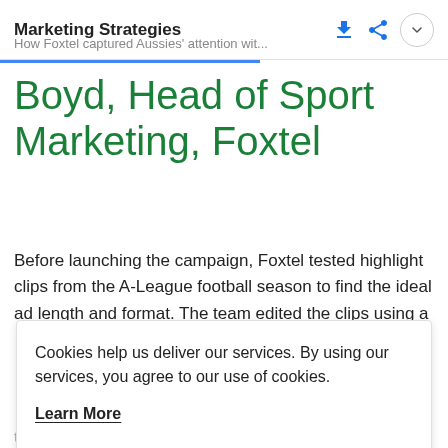Marketing Strategies
How Foxtel captured Aussies' attention wit...
Boyd, Head of Sport Marketing, Foxtel
Before launching the campaign, Foxtel tested highlight clips from the A-League football season to find the ideal ad length and format. The team edited the clips using a
Cookies help us deliver our services. By using our services, you agree to our use of cookies.
Learn More
Got It
team built their creative around epic, individual highlight